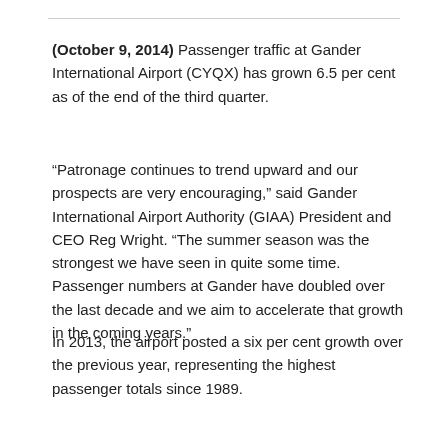(October 9, 2014) Passenger traffic at Gander International Airport (CYQX) has grown 6.5 per cent as of the end of the third quarter.
“Patronage continues to trend upward and our prospects are very encouraging,” said Gander International Airport Authority (GIAA) President and CEO Reg Wright. “The summer season was the strongest we have seen in quite some time. Passenger numbers at Gander have doubled over the last decade and we aim to accelerate that growth in the coming years.”
In 2013, the airport posted a six per cent growth over the previous year, representing the highest passenger totals since 1989.